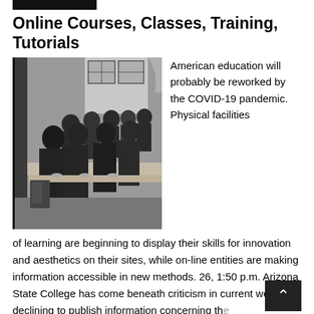Online Courses, Classes, Training, Tutorials
[Figure (photo): Black and white historical photograph of African American children seated at long tables in a classroom, facing the camera.]
American education will probably be reworked by the COVID-19 pandemic. Physical facilities of learning are beginning to display their skills for innovation and aesthetics on their sites, while on-line entities are making information accessible in new methods. 26, 1:50 p.m. Arizona State College has come beneath criticism in current weeks for declining to publish information concerning the spread of COVID-19 on campus. 13, 2:55 Arizona will